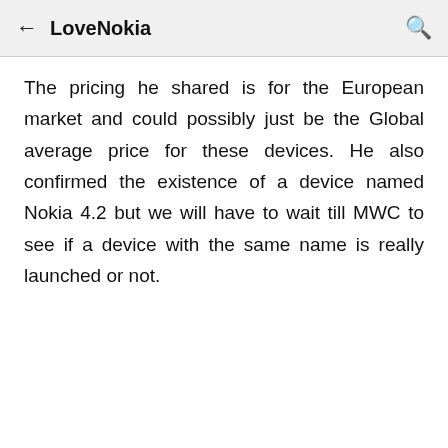← LoveNokia
The pricing he shared is for the European market and could possibly just be the Global average price for these devices. He also confirmed the existence of a device named Nokia 4.2 but we will have to wait till MWC to see if a device with the same name is really launched or not.